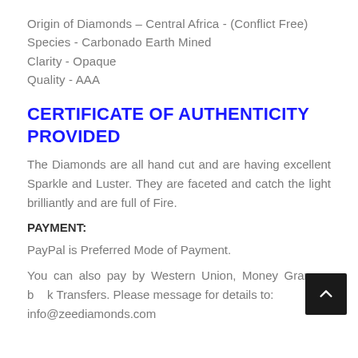Origin of Diamonds – Central Africa - (Conflict Free)
Species - Carbonado Earth Mined
Clarity - Opaque
Quality - AAA
CERTIFICATE OF AUTHENTICITY PROVIDED
The Diamonds are all hand cut and are having excellent Sparkle and Luster. They are faceted and catch the light brilliantly and are full of Fire.
PAYMENT:
PayPal is Preferred Mode of Payment.
You can also pay by Western Union, Money Gram or Bank Transfers. Please message for details to: info@zeediamonds.com